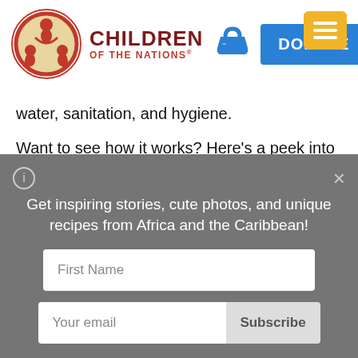Children of the Nations — DONATE
water, sanitation, and hygiene.

Want to see how it works? Here's a peek into several of the villages COTN serves in Malawi. These families are embracing new methods
Get inspiring stories, cute photos, and unique recipes from Africa and the Caribbean!
First Name
Your email
Subscribe